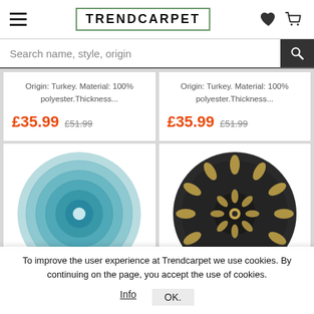TRENDCARPET
Search name, style, origin
Origin: Turkey. Material: 100% polyester.Thickness...  £35.99  £51.99
Origin: Turkey. Material: 100% polyester.Thickness...  £35.99  £51.99
[Figure (photo): Round teal/turquoise carpet seen from above]
[Figure (photo): Round dark mandala-pattern carpet seen from above]
To improve the user experience at Trendcarpet we use cookies. By continuing on the page, you accept the use of cookies.
Info    OK.